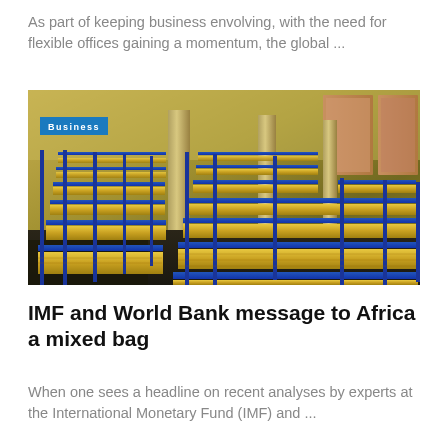As part of keeping business envolving, with the need for flexible offices gaining a momentum, the global ...
[Figure (photo): Warehouse interior filled with rows of gold bars stacked on blue metal shelving racks, with large columns and artwork visible in the background. A 'Business' badge overlay appears in the upper left of the image.]
IMF and World Bank message to Africa a mixed bag
When one sees a headline on recent analyses by experts at the International Monetary Fund (IMF) and ...